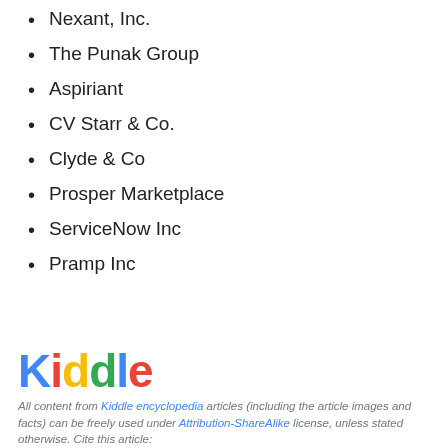Nexant, Inc.
The Punak Group
Aspiriant
CV Starr & Co.
Clyde & Co
Prosper Marketplace
ServiceNow Inc
Pramp Inc
[Figure (logo): Kiddle encyclopedia colorful logo]
All content from Kiddle encyclopedia articles (including the article images and facts) can be freely used under Attribution-ShareAlike license, unless stated otherwise. Cite this article: